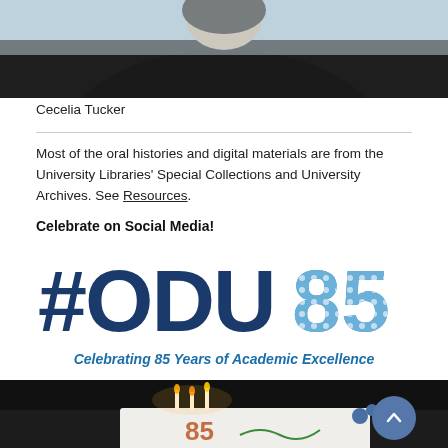[Figure (photo): Cropped photo of Cecelia Tucker, a woman in dark clothing against a light blue background, upper portion visible]
Cecelia Tucker
Most of the oral histories and digital materials are from the University Libraries' Special Collections and University Archives. See Resources.
Celebrate on Social Media!
[Figure (logo): #ODU85 logo — large bold dark blue text '#ODU' with light blue dotted pattern '85', subtitle 'Celebrating 85 Years of Academic Excellence' in blue italic bold]
[Figure (photo): Birthday cake with lit candles spelling '85', decorated with blue flowers, on a dark surface, partially visible at bottom of page. A blue circular scroll-to-top button overlays the bottom right.]